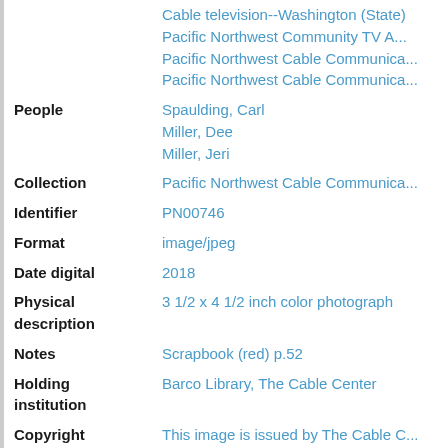|  | Cable television--Washington (State)
Pacific Northwest Community TV A...
Pacific Northwest Cable Communica...
Pacific Northwest Cable Communica... |
| People | Spaulding, Carl
Miller, Dee
Miller, Jeri |
| Collection | Pacific Northwest Cable Communica... |
| Identifier | PN00746 |
| Format | image/jpeg |
| Date digital | 2018 |
| Physical description | 3 1/2 x 4 1/2 inch color photograph |
| Notes | Scrapbook (red) p.52 |
| Holding institution | Barco Library, The Cable Center |
| Copyright | This image is issued by The Cable C...
The Cable Center's Barco Library. A...
made of reproduced material provide...
Library will provide any information... |